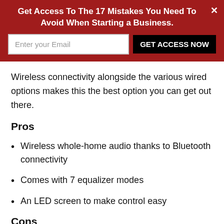Get Access To The 17 Mistakes You Need To Avoid When Starting a Business.
Wireless connectivity alongside the various wired options makes this the best option you can get out there.
Pros
Wireless whole-home audio thanks to Bluetooth connectivity
Comes with 7 equalizer modes
An LED screen to make control easy
Cons